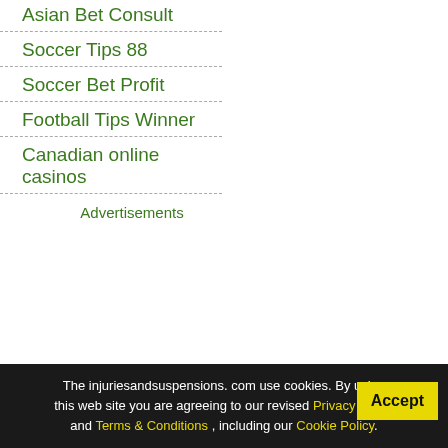Asian Bet Consult
Soccer Tips 88
Soccer Bet Profit
Football Tips Winner
Canadian online casinos
Advertisements
The injuriesandsuspensions. com use cookies. By using this web site you are agreeing to our revised Privacy Policy and Terms & Conditions , including our Cookie Policy.